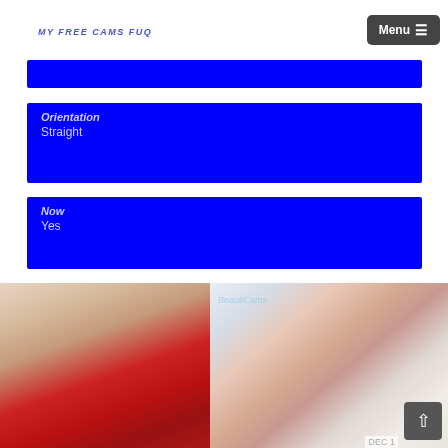MY FREE CAMS FUQ — Menu
Orientation
Straight
Now
Yes
[Figure (photo): Woman lying on bed with red satin fabric]
[Figure (photo): Asian woman in white top, webcam screenshot with BeautiCams watermark]